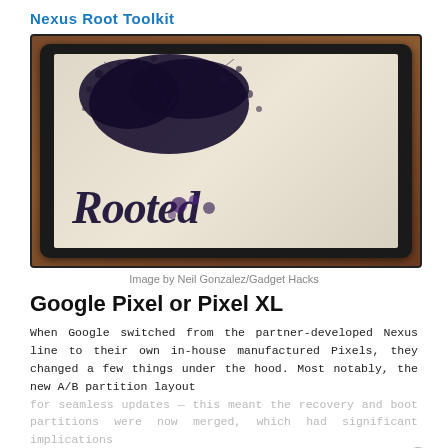Nexus Root Toolkit
[Figure (photo): A tablet device displayed on a wooden surface showing a stylized splash/ink image with the word 'Rooted' written in dark ink-style lettering against a parchment-colored background]
Image by Neil Gonzalez/Gadget Hacks
Google Pixel or Pixel XL
When Google switched from the partner-developed Nexus line to their own in-house manufactured Pixels, they changed a few things under the hood. Most notably, the new A/B partition layout for seamless updates — this meant the recovery and boot partitions were now merged, which had significant implications for the rooting process. Thankfully, Android developers...